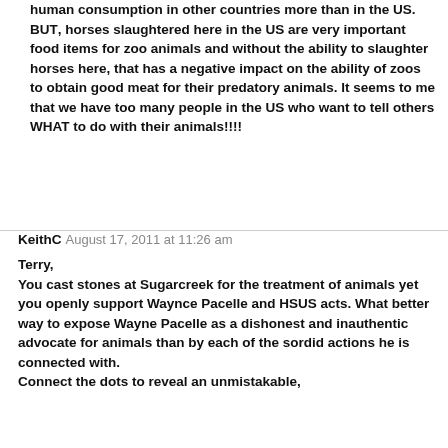human consumption in other countries more than in the US. BUT, horses slaughtered here in the US are very important food items for zoo animals and without the ability to slaughter horses here, that has a negative impact on the ability of zoos to obtain good meat for their predatory animals. It seems to me that we have too many people in the US who want to tell others WHAT to do with their animals!!!!
KeithC August 17, 2011 at 11:26 am
Terry,
You cast stones at Sugarcreek for the treatment of animals yet you openly support Waynce Pacelle and HSUS acts. What better way to expose Wayne Pacelle as a dishonest and inauthentic advocate for animals than by each of the sordid actions he is connected with.
Connect the dots to reveal an unmistakable,